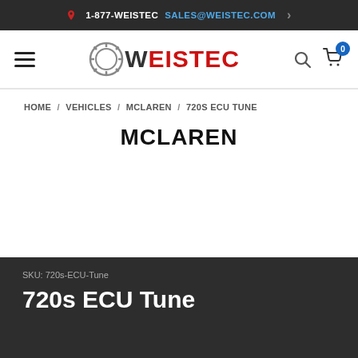1-877-WEISTEC SALES@WEISTEC.COM
[Figure (logo): Weistec logo with gear icon and red/dark text]
HOME / VEHICLES / MCLAREN / 720S ECU TUNE
MCLAREN
SKU: 720s-ECU-Tune
720s ECU Tune